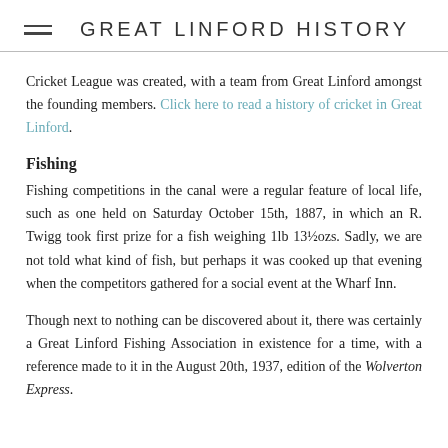GREAT LINFORD HISTORY
Cricket League was created, with a team from Great Linford amongst the founding members. Click here to read a history of cricket in Great Linford.
Fishing
Fishing competitions in the canal were a regular feature of local life, such as one held on Saturday October 15th, 1887, in which an R. Twigg took first prize for a fish weighing 1lb 13½ozs. Sadly, we are not told what kind of fish, but perhaps it was cooked up that evening when the competitors gathered for a social event at the Wharf Inn.
Though next to nothing can be discovered about it, there was certainly a Great Linford Fishing Association in existence for a time, with a reference made to it in the August 20th, 1937, edition of the Wolverton Express.